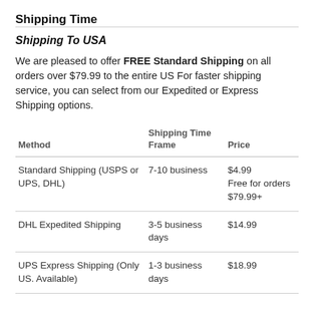Shipping Time
Shipping To USA
We are pleased to offer FREE Standard Shipping on all orders over $79.99 to the entire US For faster shipping service, you can select from our Expedited or Express Shipping options.
| Method | Shipping Time Frame | Price |
| --- | --- | --- |
| Standard Shipping (USPS or UPS, DHL) | 7-10 business | $4.99
Free for orders $79.99+ |
| DHL Expedited Shipping | 3-5 business days | $14.99 |
| UPS Express Shipping (Only US. Available) | 1-3 business days | $18.99 |